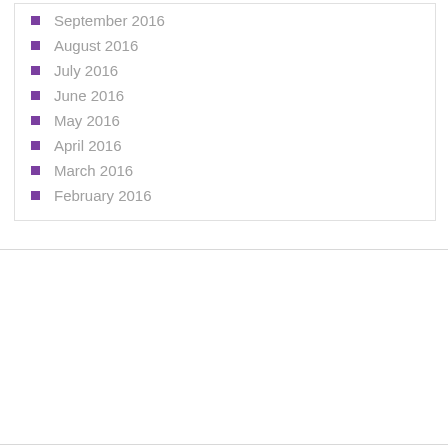September 2016
August 2016
July 2016
June 2016
May 2016
April 2016
March 2016
February 2016